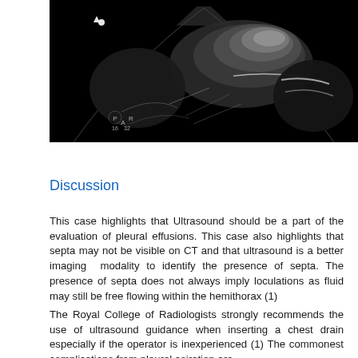[Figure (photo): Ultrasound image showing pleural effusion with septa, black background with grayscale tissue visualization. Shows measurement indicators and labels including P, A, R and numeric values 16, 32.]
Discussion
This case highlights that Ultrasound should be a part of the evaluation of pleural effusions. This case also highlights that septa may not be visible on CT and that ultrasound is a better imaging modality to identify the presence of septa. The presence of septa does not always imply loculations as fluid may still be free flowing within the hemithorax (1)
The Royal College of Radiologists strongly recommends the use of ultrasound guidance when inserting a chest drain especially if the operator is inexperienced (1) The commonest complications from pleural asiration are